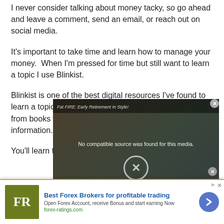I never consider talking about money tacky, so go ahead and leave a comment, send an email, or reach out on social media.
It's important to take time and learn how to manage your money.  When I'm pressed for time but still want to learn a topic I use Blinkist.
Blinkist is one of the best digital resources I've found to learn a topic. It gives you the most important information from books while skipping all the unnecessary information.
You'll learn the 3 to 5 most important concepts of...
[Figure (screenshot): Video popup overlay showing 'Fat FIRE: Early Retirement In Style!' with message 'No compatible source was found for this media.' and FatFIRE logo with tagline 'How To Reach Financial Independence In Style', with close X button]
[Figure (infographic): Advertisement banner for 'Best Forex Brokers for profitable trading' by forex-ratings.com with FR logo in olive/green square, blue headline, body text, and blue arrow button]